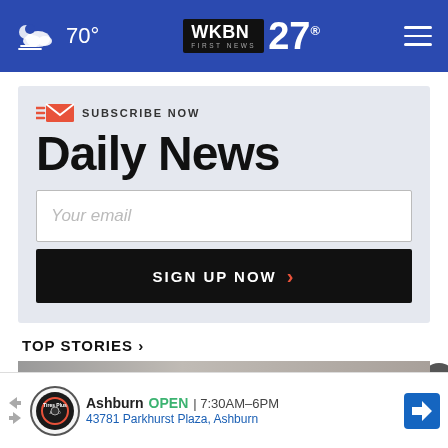70° WKBN 27 First News
SUBSCRIBE NOW
Daily News
Your email
SIGN UP NOW
TOP STORIES ›
[Figure (screenshot): Bottom advertisement banner: Tire Auto shop - Ashburn OPEN 7:30AM-6PM, 43781 Parkhurst Plaza, Ashburn]